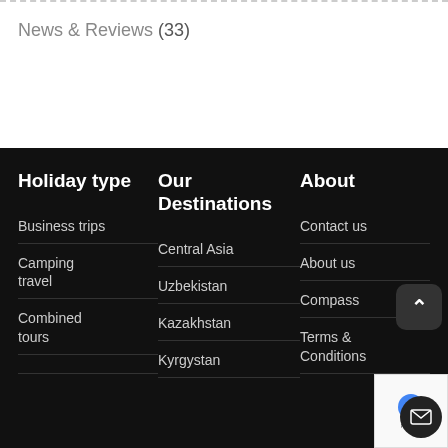News & Reviews (33)
Holiday type
Business trips
Camping travel
Combined tours
Our Destinations
Central Asia
Uzbekistan
Kazakhstan
Kyrgystan
About
Contact us
About us
Compass
Terms & Conditions